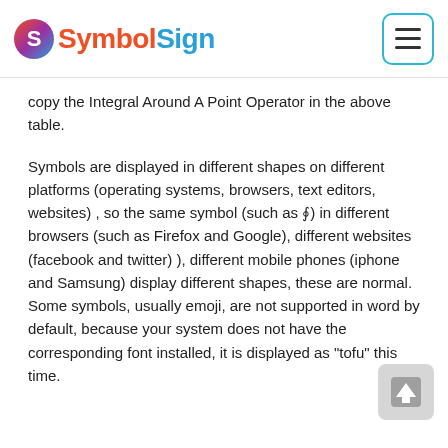SymbolSign
copy the Integral Around A Point Operator in the above table.
Symbols are displayed in different shapes on different platforms (operating systems, browsers, text editors, websites) , so the same symbol (such as ∮) in different browsers (such as Firefox and Google), different websites (facebook and twitter) ), different mobile phones (iphone and Samsung) display different shapes, these are normal. Some symbols, usually emoji, are not supported in word by default, because your system does not have the corresponding font installed, it is displayed as "tofu" this time.